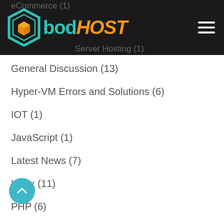eCommerce (1)  |  Server Hosting (1)
[Figure (logo): bodHOST logo with teal hexagon icon and teal/orange wordmark on dark navbar, with hamburger menu on right]
General Discussion (13)
Hyper-VM Errors and Solutions (6)
IOT (1)
JavaScript (1)
Latest News (7)
Linux (11)
PHP (6)
Plesk (1)
PostgreSQL (1)
Privacy (4)